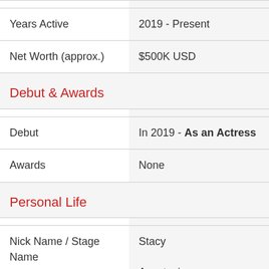| Years Active | 2019 - Present |
| Net Worth (approx.) | $500K USD |
| Debut & Awards |  |
| Debut | In 2019 - As an Actress |
| Awards | None |
| Personal Life |  |
| Nick Name / Stage Name | Stacy
Anastasia
Platonova |